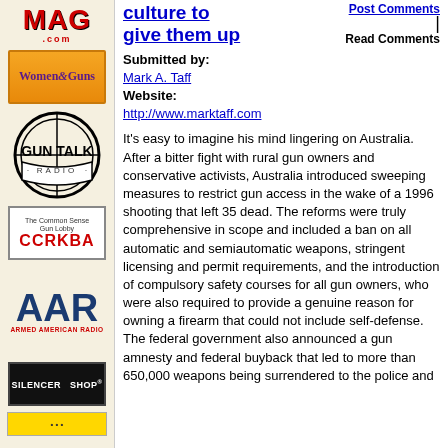[Figure (logo): MAG.com logo in red bold Impact font]
[Figure (logo): Women & Guns logo on orange gradient background with purple text]
[Figure (logo): Gun Talk Radio circular logo in black and white]
[Figure (logo): CCRKBA - The Common Sense Gun Lobby logo with cowboy figure]
[Figure (logo): AAR Armed American Radio logo in navy blue and red]
[Figure (logo): Silencer Shop logo white text on black background]
culture to give them up
Post Comments
Read Comments
Submitted by: Mark A. Taff
Website: http://www.marktaff.com
It's easy to imagine his mind lingering on Australia. After a bitter fight with rural gun owners and conservative activists, Australia introduced sweeping measures to restrict gun access in the wake of a 1996 shooting that left 35 dead. The reforms were truly comprehensive in scope and included a ban on all automatic and semiautomatic weapons, stringent licensing and permit requirements, and the introduction of compulsory safety courses for all gun owners, who were also required to provide a genuine reason for owning a firearm that could not include self-defense. The federal government also announced a gun amnesty and federal buyback that led to more than 650,000 weapons being surrendered to the police and